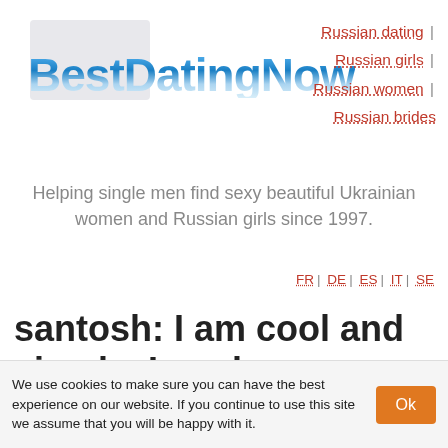[Figure (logo): BestDatingNow logo in blue gradient text with a light gray rectangle in background]
Russian dating | Russian girls | Russian women | Russian brides
Helping single men find sexy beautiful Ukrainian women and Russian girls since 1997.
FR | DE | ES | IT | SE
santosh: I am cool and simple, I work as software prof
We use cookies to make sure you can have the best experience on our website. If you continue to use this site we assume that you will be happy with it.